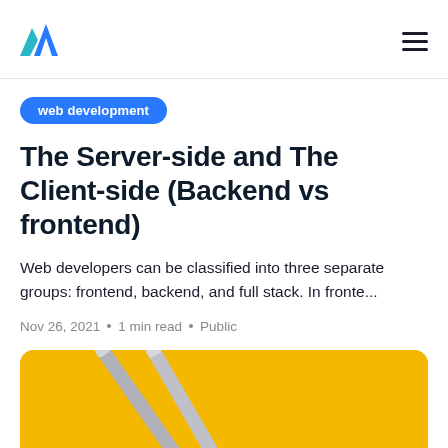logo and navigation
web development
The Server-side and The Client-side (Backend vs frontend)
Web developers can be classified into three separate groups: frontend, backend, and full stack. In fronte...
Nov 26, 2021 • 1 min read • Public
[Figure (photo): Two pencils on a yellow background]